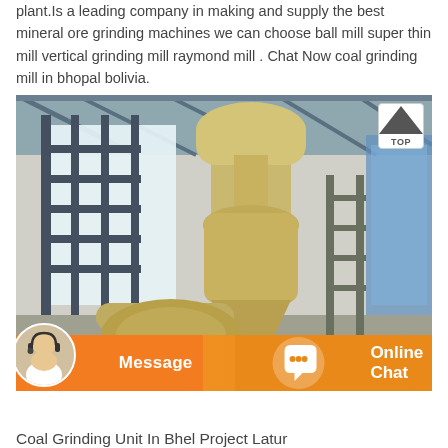plant.Is a leading company in making and supply the best mineral ore grinding machines we can choose ball mill super thin mill vertical grinding mill raymond mill . Chat Now coal grinding mill in bhopal bolivia.
[Figure (photo): Industrial photo of a large yellow Raymond mill / vertical grinding mill machine inside a warehouse-style building with steel roof structure, with an orange message/chat overlay bar at the bottom containing a customer service avatar.]
Coal Grinding Unit In Bhel Project Latur